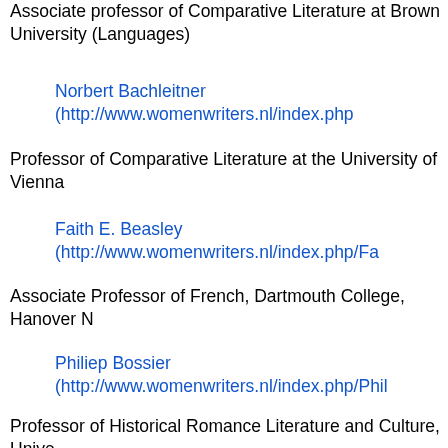Associate professor of Comparative Literature at Brown University (Languages)
Norbert Bachleitner (http://www.womenwriters.nl/index.php/...
Professor of Comparative Literature at the University of Vienna
Faith E. Beasley (http://www.womenwriters.nl/index.php/Fa...
Associate Professor of French, Dartmouth College, Hanover N...
Philiep Bossier (http://www.womenwriters.nl/index.php/Phil...
Professor of Historical Romance Literature and Culture, Unive...
Petra Broomans (http://www.womenwriters.nl/index.php/Pe...
Associate Professor of Scandinavian Languages and Cultures, Groningen
Gillian Dow (http://www.womenwriters.nl/index.php/Gillian_...
Chawton Post-Doctoral research Fellow, University of Southampton, English
Agnese Fidecaro (http://www.womenwriters.nl/index.php/Ag...